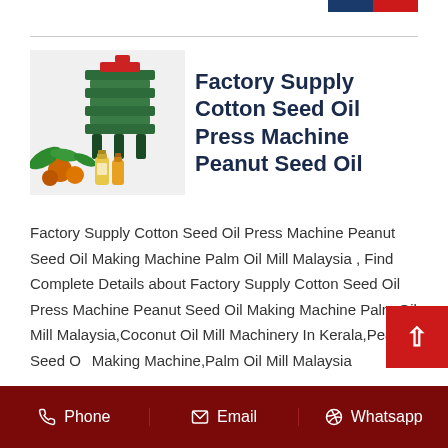[Figure (photo): Product listing showing an oil press machine with seeds and oil bottles]
Factory Supply Cotton Seed Oil Press Machine Peanut Seed Oil
Factory Supply Cotton Seed Oil Press Machine Peanut Seed Oil Making Machine Palm Oil Mill Malaysia , Find Complete Details about Factory Supply Cotton Seed Oil Press Machine Peanut Seed Oil Making Machine Palm Oil Mill Malaysia,Coconut Oil Mill Machinery In Kerala,Peanut Seed Oil Making Machine,Palm Oil Mill Malaysia
Phone  Email  Whatsapp